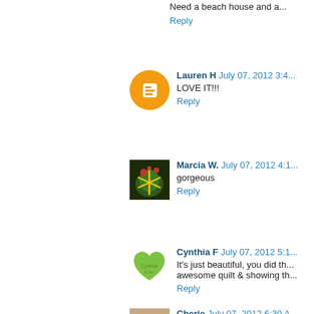Need a beach house and a...
Reply
Lauren H  July 07, 2012 3:4...
LOVE IT!!!
Reply
Marcia W.  July 07, 2012 4:1...
gorgeous
Reply
Cynthia F  July 07, 2012 5:1...
It's just beautiful, you did th... awesome quilt & showing th...
Reply
Cherie  July 07, 2012 6:30 A...
That looks amazing! The c... amazed at how quickly you s...
Reply